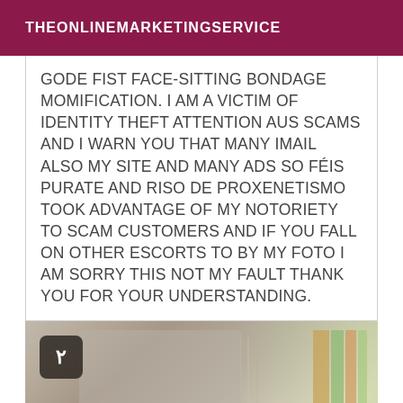THEONLINEMARKETINGSERVICE
GODE FIST FACE-SITTING BONDAGE MOMIFICATION. I AM A VICTIM OF IDENTITY THEFT ATTENTION AUS SCAMS AND I WARN YOU THAT MANY IMAIL ALSO MY SITE AND MANY ADS SO FÉIS PURATE AND RISO DE PROXENETISMO TOOK ADVANTAGE OF MY NOTORIETY TO SCAM CUSTOMERS AND IF YOU FALL ON OTHER ESCORTS TO BY MY FOTO I AM SORRY THIS NOT MY FAULT THANK YOU FOR YOUR UNDERSTANDING.
[Figure (photo): Photo of stacked notebooks/journals with a numbered badge '٢' (Arabic numeral 2) in the top-left corner. Books appear gray and beige with colorful spines visible on the right side.]